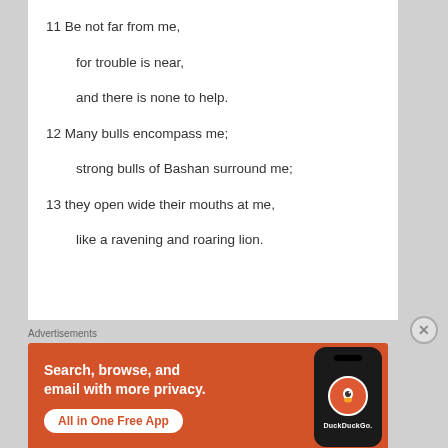11 Be not far from me,
for trouble is near,
and there is none to help.
12 Many bulls encompass me;
strong bulls of Bashan surround me;
13 they open wide their mouths at me,
like a ravening and roaring lion.
Advertisements
[Figure (infographic): DuckDuckGo advertisement: orange background with phone graphic showing DuckDuckGo logo. Text: 'Search, browse, and email with more privacy. All in One Free App'. DuckDuckGo branding.]